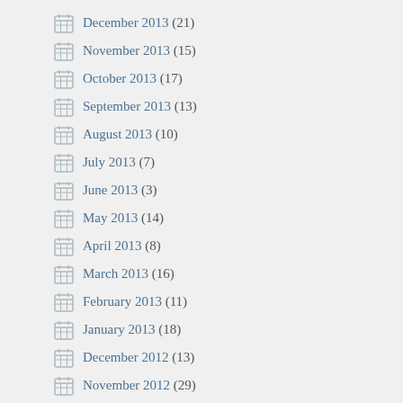December 2013 (21)
November 2013 (15)
October 2013 (17)
September 2013 (13)
August 2013 (10)
July 2013 (7)
June 2013 (3)
May 2013 (14)
April 2013 (8)
March 2013 (16)
February 2013 (11)
January 2013 (18)
December 2012 (13)
November 2012 (29)